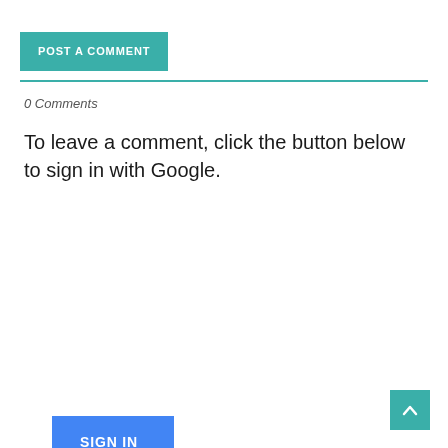POST A COMMENT
0 Comments
To leave a comment, click the button below to sign in with Google.
[Figure (other): Blue 'SIGN IN WITH GOOGLE' button]
[Figure (other): Back to top arrow button (teal)]